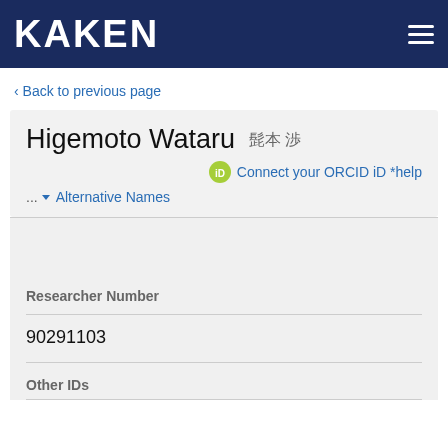KAKEN
Back to previous page
Higemoto Wataru 髭本 渉
Connect your ORCID iD *help
... Alternative Names
Researcher Number
90291103
Other IDs